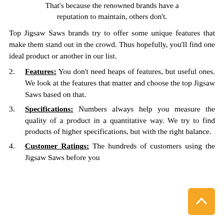That's because the renowned brands have a reputation to maintain, others don't.
Top Jigsaw Saws brands try to offer some unique features that make them stand out in the crowd. Thus hopefully, you'll find one ideal product or another in our list.
2. Features: You don't need heaps of features, but useful ones. We look at the features that matter and choose the top Jigsaw Saws based on that.
3. Specifications: Numbers always help you measure the quality of a product in a quantitative way. We try to find products of higher specifications, but with the right balance.
4. Customer Ratings: The hundreds of customers using the Jigsaw Saws before you